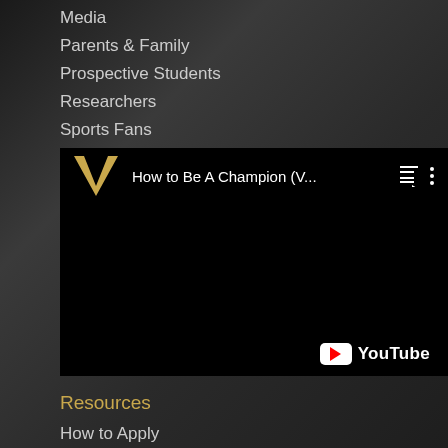Media
Parents & Family
Prospective Students
Researchers
Sports Fans
Visitors & Neighbors
[Figure (screenshot): Vanderbilt University YouTube video embed showing 'How to Be A Champion (V...' with black video area and YouTube logo]
Resources
How to Apply
Programs of Study